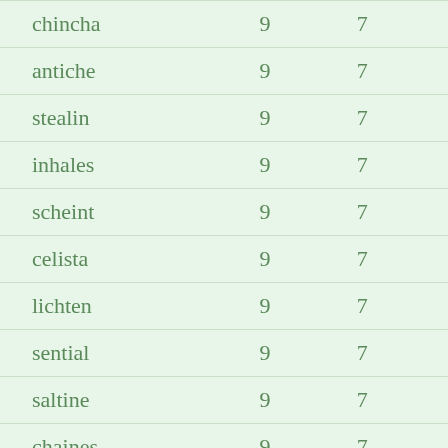| chincha | 9 | 7 |
| antiche | 9 | 7 |
| stealin | 9 | 7 |
| inhales | 9 | 7 |
| scheint | 9 | 7 |
| celista | 9 | 7 |
| lichten | 9 | 7 |
| sential | 9 | 7 |
| saltine | 9 | 7 |
| chaines | 9 | 7 |